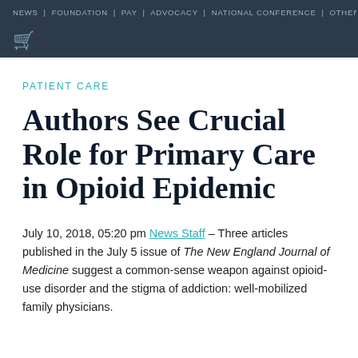NEWS | FOUNDATION | PAY | ADVOCACY | NATIONAL CONFERENCE | OTHER
Patient Care
Authors See Crucial Role for Primary Care in Opioid Epidemic
July 10, 2018, 05:20 pm News Staff – Three articles published in the July 5 issue of The New England Journal of Medicine suggest a common-sense weapon against opioid-use disorder and the stigma of addiction: well-mobilized family physicians.